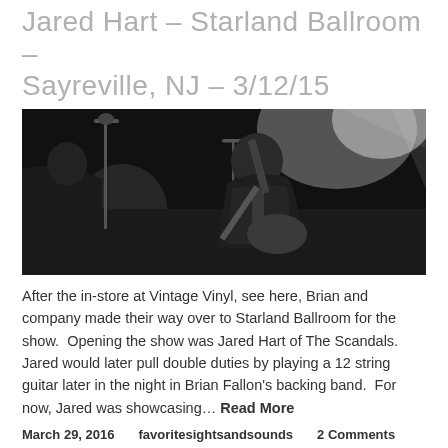Jared Hart – Starland Ballroom – Sayreville, NJ – 3/12/15
[Figure (photo): Black and white concert photo of a male guitarist playing on stage, hunched over guitar with a microphone stand visible to the left, stage lights in background.]
After the in-store at Vintage Vinyl, see here, Brian and company made their way over to Starland Ballroom for the show.  Opening the show was Jared Hart of The Scandals.  Jared would later pull double duties by playing a 12 string guitar later in the night in Brian Fallon's backing band.  For now, Jared was showcasing… Read More
March 29, 2016    favoritesightsandsounds    2 Comments